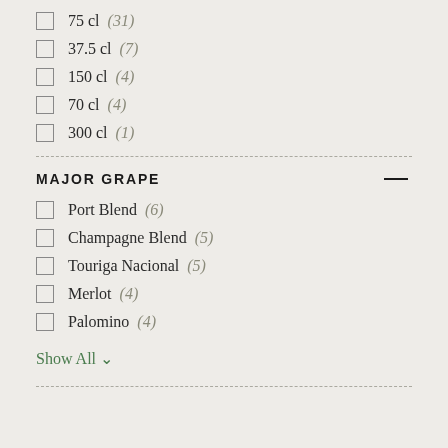75 cl (31)
37.5 cl (7)
150 cl (4)
70 cl (4)
300 cl (1)
MAJOR GRAPE
Port Blend (6)
Champagne Blend (5)
Touriga Nacional (5)
Merlot (4)
Palomino (4)
Show All